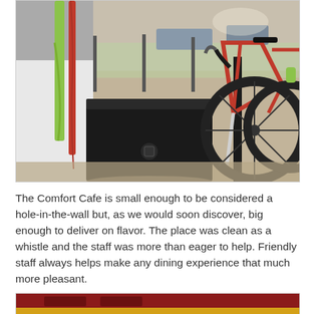[Figure (photo): Outdoor parking lot scene showing a vehicle with green and red straps on the left, a black toolbox or equipment case, and red bicycles mounted on a bike rack on the right. Gravel/dirt ground visible, with more vehicles and a fence in the background.]
The Comfort Cafe is small enough to be considered a hole-in-the-wall but, as we would soon discover, big enough to deliver on flavor. The place was clean as a whistle and the staff was more than eager to help. Friendly staff always helps make any dining experience that much more pleasant.
[Figure (photo): Partial view of a restaurant interior or signage showing a dark red/maroon background with a yellow/gold stripe visible at bottom.]